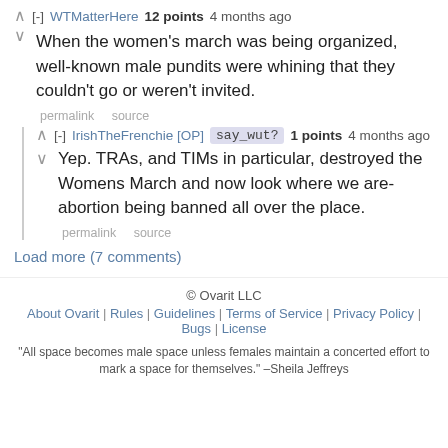WTMatterHere 12 points 4 months ago
When the women's march was being organized, well-known male pundits were whining that they couldn't go or weren't invited.
permalink source
IrishTheFrenchie [OP] say_wut? 1 points 4 months ago
Yep. TRAs, and TIMs in particular, destroyed the Womens March and now look where we are-abortion being banned all over the place.
permalink source
Load more (7 comments)
© Ovarit LLC
About Ovarit | Rules | Guidelines | Terms of Service | Privacy Policy | Bugs | License
"All space becomes male space unless females maintain a concerted effort to mark a space for themselves." –Sheila Jeffreys